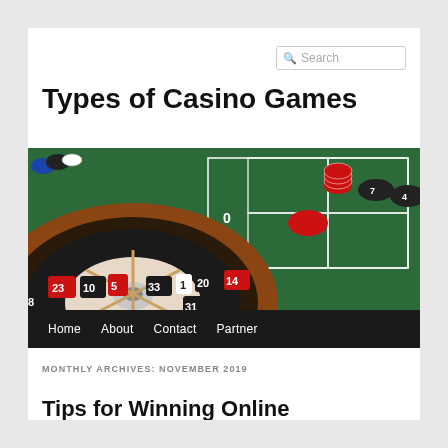Search
Types of Casino Games
[Figure (photo): Casino roulette wheel and table with colorful chips on green felt, viewed from above/side angle. Numbers visible on roulette wheel include 23, 10, 5, 33, 1, 20, 14, 31, 9, 22. Red, blue, white and black chips scattered on the table.]
Home   About   Contact   Partner
MONTHLY ARCHIVES: NOVEMBER 2019
Tips for Winning Online